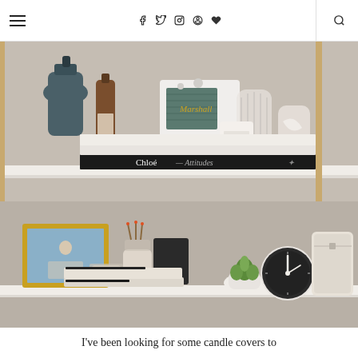≡  f  𝕏  ◎  ⓟ  ♥  | 🔍
[Figure (photo): A styled bookshelf with two shelves. Top shelf contains dark glass bottle, brown glass bottle, Marshall Bluetooth speaker (white/teal), glass vase, ribbed ceramic vase, candle, and a Chloé – Attitudes book. Bottom shelf has a gold-framed photo, a jar with matches, small candle, two stacked notebooks, small white succulent planter, dark analog clock, and a cream-colored structured bag.]
I've been looking for some candle covers to